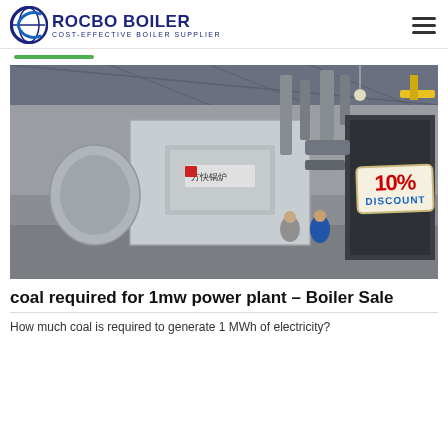ROCBO BOILER — COST-EFFECTIVE BOILER SUPPLIER
[Figure (photo): Industrial coal boiler inside a large factory/warehouse building. A large metallic boiler unit with Chinese characters on a sign, piping and ductwork, two workers standing nearby. A 10% DISCOUNT sticker is overlaid in the upper right area of the photo.]
coal required for 1mw power plant – Boiler Sale
How much coal is required to generate 1 MWh of electricity?